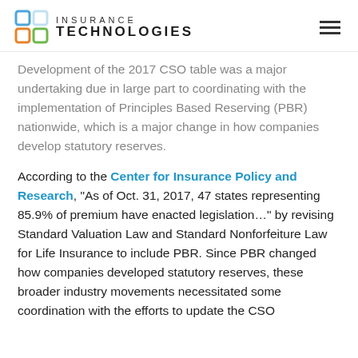INSURANCE TECHNOLOGIES
Development of the 2017 CSO table was a major undertaking due in large part to coordinating with the implementation of Principles Based Reserving (PBR) nationwide, which is a major change in how companies develop statutory reserves.
According to the Center for Insurance Policy and Research, “As of Oct. 31, 2017, 47 states representing 85.9% of premium have enacted legislation…” by revising Standard Valuation Law and Standard Nonforfeiture Law for Life Insurance to include PBR. Since PBR changed how companies developed statutory reserves, these broader industry movements necessitated some coordination with the efforts to update the CSO